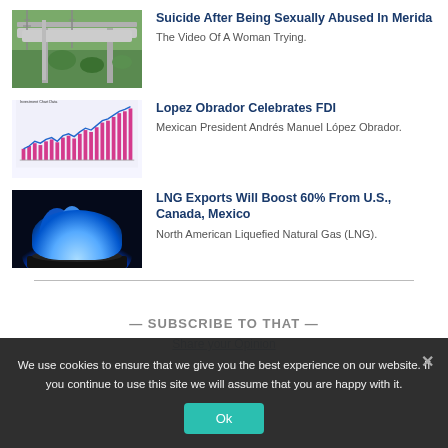[Figure (photo): Highway overpass with electrical towers and green vegetation]
Suicide After Being Sexually Abused In Merida
The Video Of A Woman Trying.
[Figure (bar-chart): Bar chart showing FDI data with pink bars and blue line trend]
Lopez Obrador Celebrates FDI
Mexican President Andrés Manuel López Obrador.
[Figure (photo): Blue gas flame on dark background]
LNG Exports Will Boost 60% From U.S., Canada, Mexico
North American Liquefied Natural Gas (LNG).
We use cookies to ensure that we give you the best experience on our website. If you continue to use this site we will assume that you are happy with it.